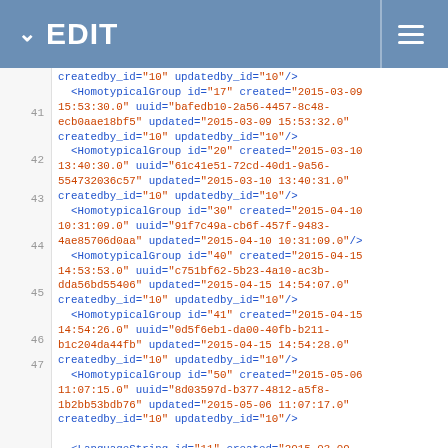EDIT
Code editor view showing XML data with HomotypicalGroup and LanguageString elements, lines 41-48
[Figure (screenshot): Code editor showing XML markup with line numbers 41-48, featuring HomotypicalGroup and LanguageString XML elements with attributes id, created, uuid, updated, createdby_id, updatedby_id]